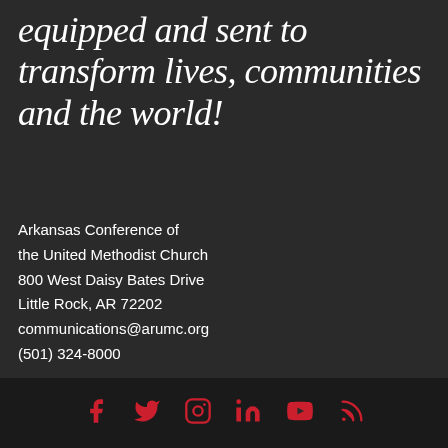equipped and sent to transform lives, communities and the world!
Arkansas Conference of the United Methodist Church
800 West Daisy Bates Drive
Little Rock, AR 72202
communications@arumc.org
(501) 324-8000
[Figure (infographic): Social media icons row: Facebook, Twitter, Instagram, LinkedIn, YouTube, RSS feed — all in red on dark background]